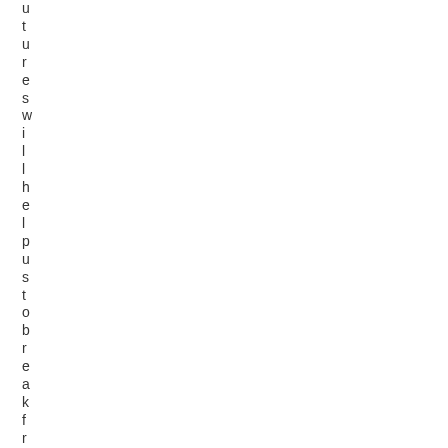tures will help us to breakfreef